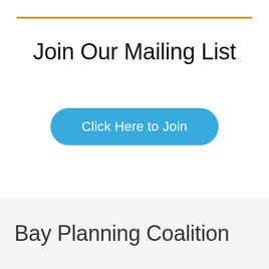Join Our Mailing List
Click Here to Join
Bay Planning Coalition